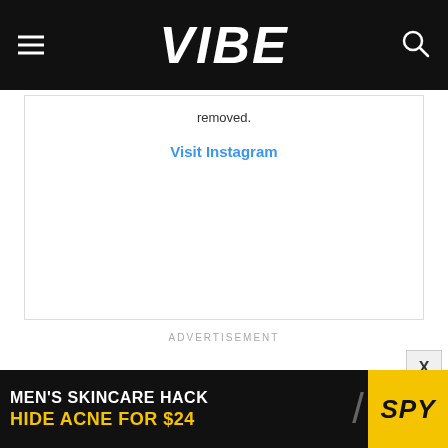VIBE
removed.
Visit Instagram
ADVERTISEMENT
[Figure (other): Advertisement banner: MEN'S SKINCARE HACK HIDE ACNE FOR $24 with SPY logo on yellow background]